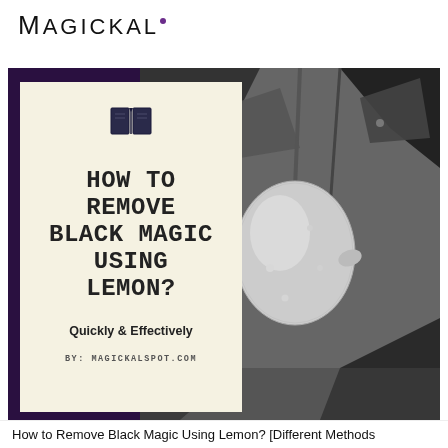MAGICKAL·
[Figure (illustration): Book cover image showing 'How to Remove Black Magic Using Lemon? Quickly & Effectively By: MagickalSpot.com' on a cream-colored book card overlay on a black-and-white photo of a lemon on a tree with dark purple background]
How to Remove Black Magic Using Lemon? [Different Methods